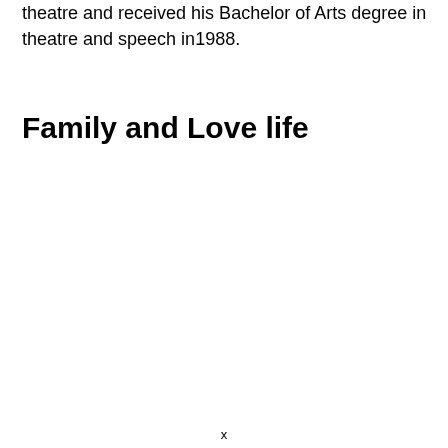theatre and received his Bachelor of Arts degree in theatre and speech in1988.
Family and Love life
x